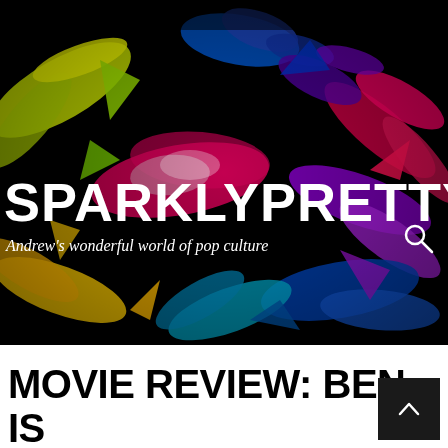[Figure (photo): Colorful powder explosion/burst on black background with multiple colors including yellow, green, blue, red, pink, purple]
SPARKLYPRETTYBRIIII
Andrew's wonderful world of pop culture
MOVIE REVIEW: BEN IS